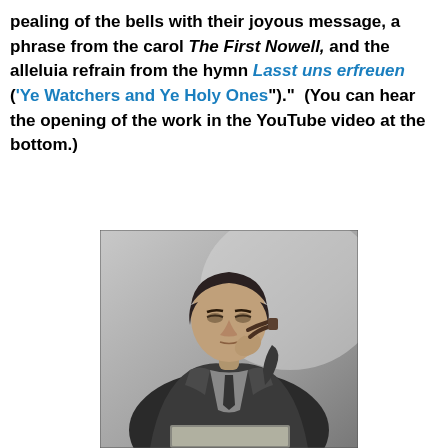pealing of the bells with their joyous message, a phrase from the carol The First Nowell, and the alleluia refrain from the hymn Lasst uns erfreuen ('Ye Watchers and Ye Holy Ones")."  (You can hear the opening of the work in the YouTube video at the bottom.)
[Figure (photo): Black and white photograph of a young man in a tweed jacket and tie, holding a pipe up to his face, looking downward, possibly reading]